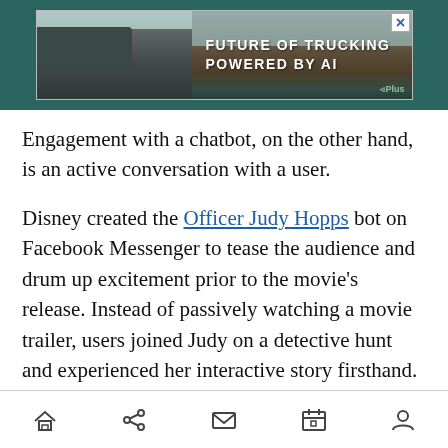[Figure (photo): Advertisement banner: truck on rocky terrain with text 'FUTURE OF TRUCKING POWERED BY AI' and GPIus logo, with close X button]
Engagement with a chatbot, on the other hand, is an active conversation with a user.
Disney created the Officer Judy Hopps bot on Facebook Messenger to tease the audience and drum up excitement prior to the movie’s release. Instead of passively watching a movie trailer, users joined Judy on a detective hunt and experienced her interactive story firsthand. Engagement was astronomical: Users spent more than 10 minutes, on average, talking to the character, and countless users restarted the conversation to replay a different scenario.
Navigation bar with home, share, mail, calendar, and user icons